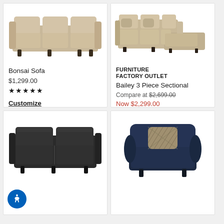[Figure (photo): Bonsai Sofa - a beige/tan three-cushion sofa with rolled arms and dark legs on white background]
Bonsai Sofa
$1,299.00
[Figure (other): 5 star rating icons]
Customize
[Figure (photo): Bailey 3 Piece Sectional - a beige/cream L-shaped sectional sofa with chaise on white background]
FURNITURE FACTORY OUTLET
Bailey 3 Piece Sectional
Compare at $2,699.00
Now $2,299.00
[Figure (other): 5 star rating icons]
[Figure (photo): Dark gray/charcoal leather loveseat on white background]
[Figure (photo): Dark navy blue armchair with decorative pillow on white background]
[Figure (other): Blue circle accessibility icon with person figure]